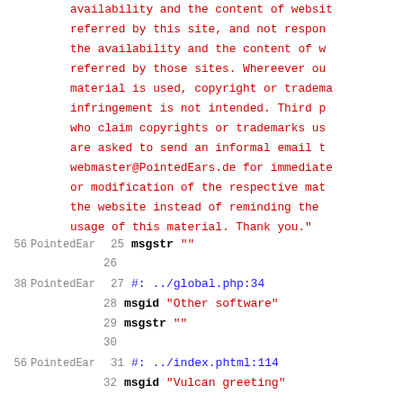availability and the content of websites referred by this site, and not responsible for the availability and the content of websites referred by those sites. Whereever outside material is used, copyright or trademark infringement is not intended. Third parties who claim copyrights or trademarks used are asked to send an informal email to webmaster@PointedEars.de for immediate removal or modification of the respective material on the website instead of reminding the author of usage of this material. Thank you."
56 PointedEar  25 msgstr ""
26
38 PointedEar  27 #: ../global.php:34
28 msgid "Other software"
29 msgstr ""
30
56 PointedEar  31 #: ../index.phtml:114
32 msgid "Vulcan greeting"
33 msgstr ""
34
35 #: ../index.phtml:127